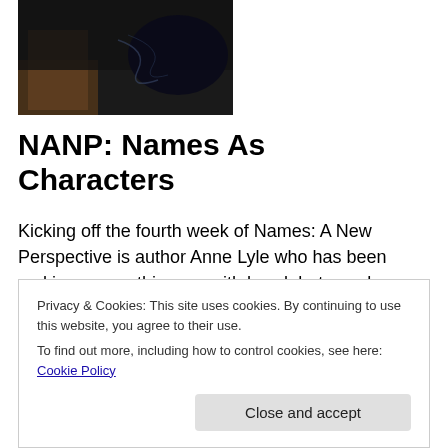[Figure (photo): Dark close-up photograph with wooden and dark elements, appears to be a nature or atmospheric shot]
NANP: Names As Characters
Kicking off the fourth week of Names: A New Perspective is author Anne Lyle who has been making waves this year with her debut novel Alchemist of Souls, an awesome alternate history set in Elizabethan London in which explorers have discovered a race of magical beings, the
Privacy & Cookies: This site uses cookies. By continuing to use this website, you agree to their use.
To find out more, including how to control cookies, see here: Cookie Policy